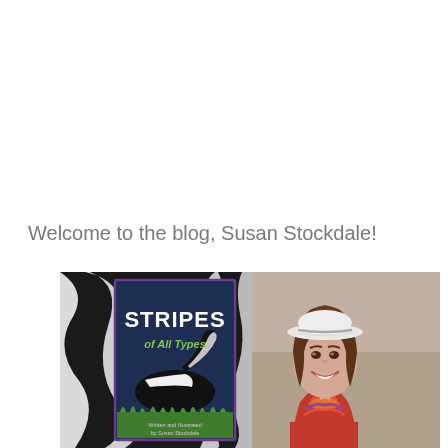Welcome to the blog, Susan Stockdale!
[Figure (photo): Left half: book cover of 'Stripes of All Types' written and illustrated by Susan Stockdale, showing a skunk on a zebra-striped background. Right half: Author photo of Susan Stockdale, a smiling woman with brown hair wearing a white hat, red jacket, and colorful scarf.]